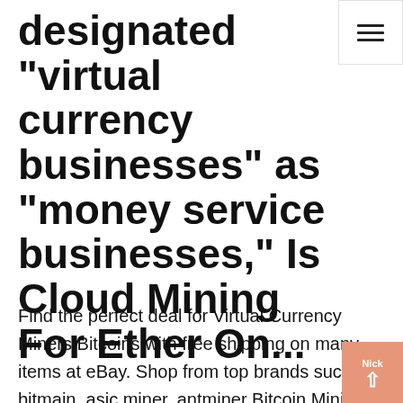designated "virtual currency businesses" as "money service businesses," Is Cloud Mining For Ether On...
Find the perfect deal for Virtual Currency Miners Bitcoins with free shipping on many items at eBay. Shop from top brands such as bitmain, asic miner, antminer Bitcoin Mining Canada's Bit Farms Buys More Than 2,000 Mining Machines. Bit Farms, a cryptocurrency mining company stationed in Canada, has bought more than 2,000 new A10 Avalon mining machines to improve its mining capabilities. Bit Farms Is Moving Up the Nick Marinoff · September 22, 2019 · 4:30 pm + We locate our sites near hydroelectric facilities in Canada and consume surplus